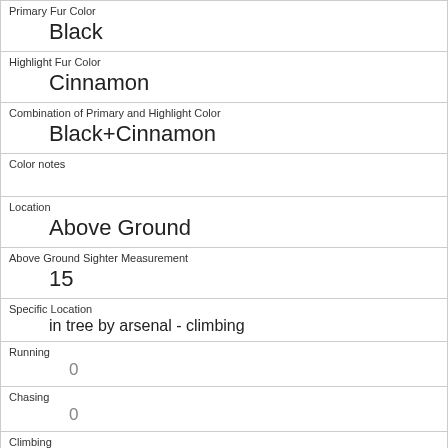| Primary Fur Color | Black |
| Highlight Fur Color | Cinnamon |
| Combination of Primary and Highlight Color | Black+Cinnamon |
| Color notes |  |
| Location | Above Ground |
| Above Ground Sighter Measurement | 15 |
| Specific Location | in tree by arsenal - climbing |
| Running | 0 |
| Chasing | 0 |
| Climbing | 1 |